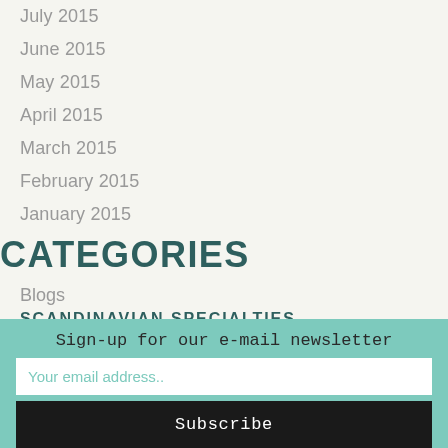July 2015
June 2015
May 2015
April 2015
March 2015
February 2015
January 2015
CATEGORIES
Blogs
SCANDINAVIAN SPECIALTIES
Sign-up for our e-mail newsletter
Your email address..
Subscribe